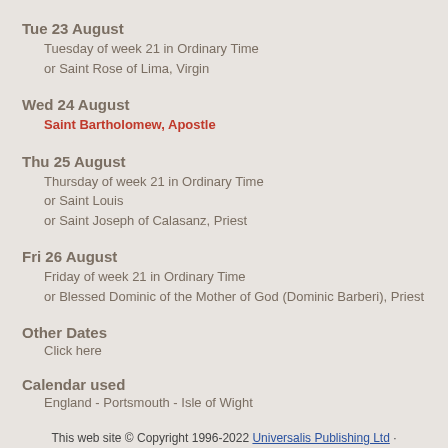Tue 23 August
Tuesday of week 21 in Ordinary Time
or Saint Rose of Lima, Virgin
Wed 24 August
Saint Bartholomew, Apostle
Thu 25 August
Thursday of week 21 in Ordinary Time
or Saint Louis
or Saint Joseph of Calasanz, Priest
Fri 26 August
Friday of week 21 in Ordinary Time
or Blessed Dominic of the Mother of God (Dominic Barberi), Priest
Other Dates
Click here
Calendar used
England - Portsmouth - Isle of Wight
This web site © Copyright 1996-2022 Universalis Publishing Ltd · Contact us · Cookies/privacy
(top)